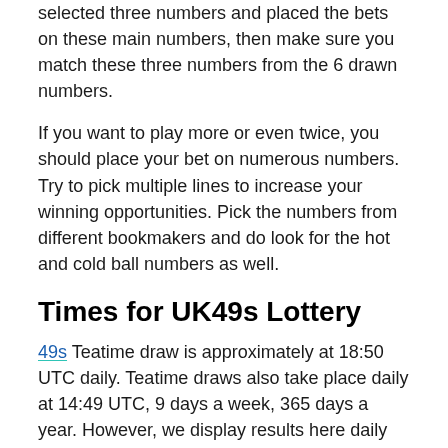selected three numbers and placed the bets on these main numbers, then make sure you match these three numbers from the 6 drawn numbers.
If you want to play more or even twice, you should place your bet on numerous numbers. Try to pick multiple lines to increase your winning opportunities. Pick the numbers from different bookmakers and do look for the hot and cold ball numbers as well.
Times for UK49s Lottery
49s Teatime draw is approximately at 18:50 UTC daily. Teatime draws also take place daily at 14:49 UTC, 9 days a week, 365 days a year. However, we display results here daily after 14:50 GMT and 23:50 GMT for Teatime and Teatime respectively irrespective of timezone clashes.